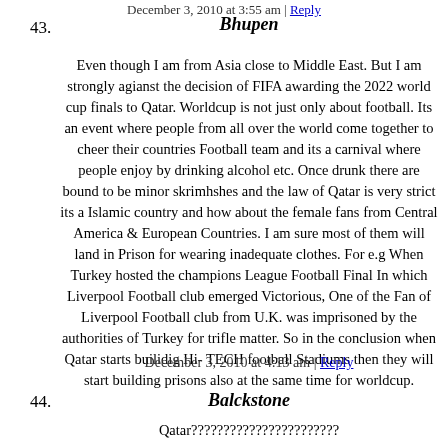December 3, 2010 at 3:55 am | Reply
43. Bhupen
Even though I am from Asia close to Middle East. But I am strongly agianst the decision of FIFA awarding the 2022 world cup finals to Qatar. Worldcup is not just only about football. Its an event where people from all over the world come together to cheer their countries Football team and its a carnival where people enjoy by drinking alcohol etc. Once drunk there are bound to be minor skrimhshes and the law of Qatar is very strict its a Islamic country and how about the female fans from Central America & European Countries. I am sure most of them will land in Prison for wearing inadequate clothes. For e.g When Turkey hosted the champions League Football Final In which Liverpool Football club emerged Victorious, One of the Fan of Liverpool Football club from U.K. was imprisoned by the authorities of Turkey for trifle matter. So in the conclusion when Qatar starts builidig Hi- TECH football Stadiums then they will start building prisons also at the same time for worldcup.
December 3, 2010 at 4:13 am | Reply
44. Balckstone
Qatar???????????????????????